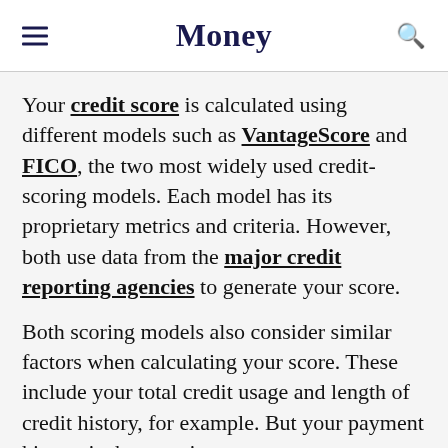Money
Your credit score is calculated using different models such as VantageScore and FICO, the two most widely used credit-scoring models. Each model has its proprietary metrics and criteria. However, both use data from the major credit reporting agencies to generate your score.
Both scoring models also consider similar factors when calculating your score. These include your total credit usage and length of credit history, for example. But your payment history is the most important